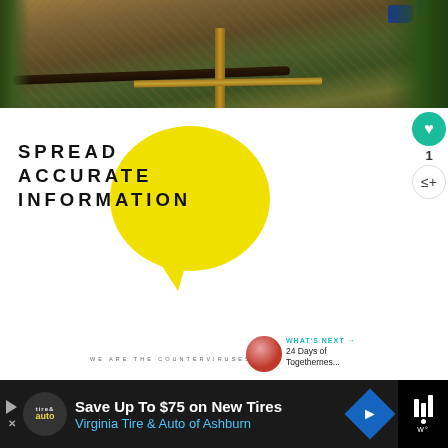[Figure (photo): Outdoor scene showing wood chips/mulch ground, a wooden post or stake, a dark pipe or log, and green pine/fir tree branches. A person's sneaker (blue) visible at top right.]
[Figure (infographic): Advertisement or infographic showing a yellow speech bubble with bold black text reading 'SPREAD ACCURATE INFORMATION' and small text 'WE ARE THE COUNTERVIRUSES.' at the bottom. There is a close/dismiss X button in teal at top right. A teal heart button with count '1' and a share button appear on the right side. A 'WHAT'S NEXT' panel shows '24 Days of Togethernes...' with a thumbnail.]
[Figure (infographic): Ad banner at the bottom on dark background: logo for 'Tire & Auto', text 'Save Up To $75 on New Tires' and 'Virginia Tire & Auto of Ashburn', a blue diamond with arrow, and a Waze-style logo on the right.]